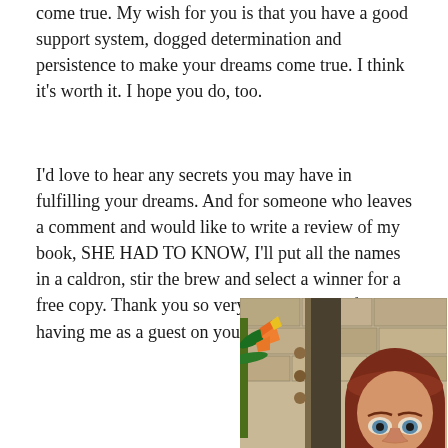come true. My wish for you is that you have a good support system, dogged determination and persistence to make your dreams come true. I think it's worth it. I hope you do, too.
I'd love to hear any secrets you may have in fulfilling your dreams. And for someone who leaves a comment and would like to write a review of my book, SHE HAD TO KNOW, I'll put all the names in a caldron, stir the brew and select a winner for a free copy. Thank you so very much, Marni, for having me as a guest on your blog.
[Figure (photo): Photo of a woman with reddish-brown hair and bangs, shown from approximately mid-face level up, with a stone wall and orange tropical flowers (bird of paradise) in the background]